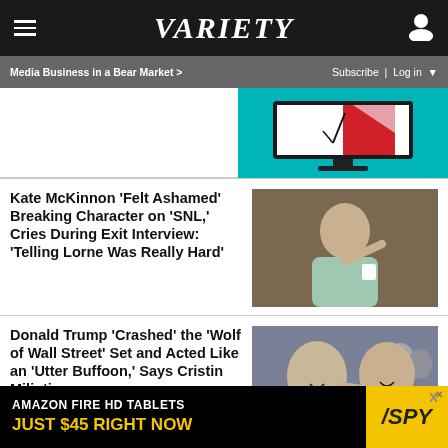VARIETY
Media Business in a Bear Market >
Subscribe | Log in
[Figure (illustration): Illustration of a computer monitor with red and pink abstract shapes on screen, on a teal background]
Kate McKinnon ‘Felt Ashamed’ Breaking Character on ‘SNL,’ Cries During Exit Interview: ‘Telling Lorne Was Really Hard’
[Figure (photo): Photo of Kate McKinnon on set, holding a pen and cup, wearing a floral top]
Donald Trump ‘Crashed’ the ‘Wolf of Wall Street’ Set and Acted Like an ‘Utter Buffoon,’ Says Cristin Milioti
[Figure (photo): Photo from Wolf of Wall Street showing two men in suits, one grabbing the other by the neck, laughing]
AMAZON FIRE HD TABLETS JUST $45 RIGHT NOW SPY